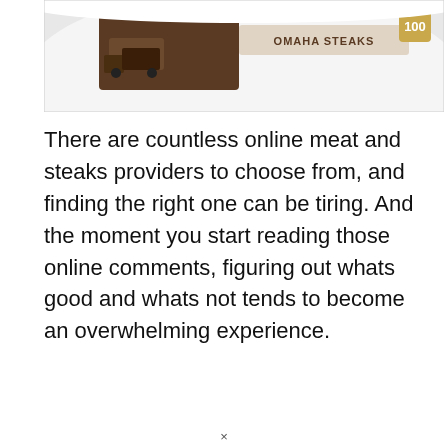[Figure (photo): Partial photo of packaged Omaha Steaks product on a white background, showing top portion of the box with branding visible.]
There are countless online meat and steaks providers to choose from, and finding the right one can be tiring. And the moment you start reading those online comments, figuring out whats good and whats not tends to become an overwhelming experience.
×